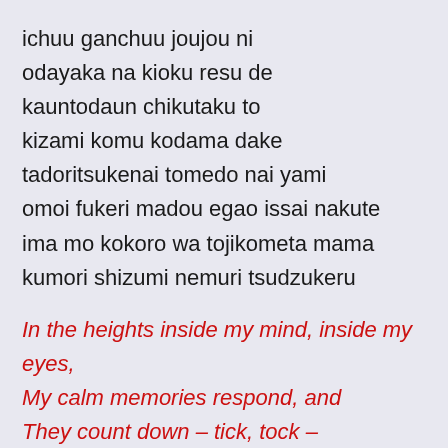ichuu ganchuu joujou ni
odayaka na kioku resu de
kauntodaun chikutaku to
kizami komu kodama dake
tadoritsukenai tomedo nai yami
omoi fukeri madou egao issai nakute
ima mo kokoro wa tojikometa mama
kumori shizumi nemuri tsudzukeru
In the heights inside my mind, inside my eyes,
My calm memories respond, and
They count down – tick, tock –
They're merely echoes that continue to mark